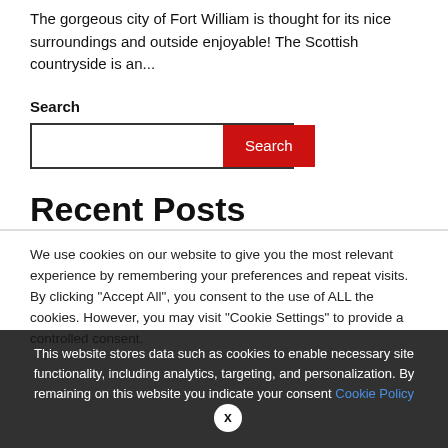The gorgeous city of Fort William is thought for its nice surroundings and outside enjoyable! The Scottish countryside is an...
Search
[Figure (screenshot): Search input box with red Search button]
Recent Posts
We use cookies on our website to give you the most relevant experience by remembering your preferences and repeat visits. By clicking "Accept All", you consent to the use of ALL the cookies. However, you may visit "Cookie Settings" to provide a controlled consent.
This website stores data such as cookies to enable necessary site functionality, including analytics, targeting, and personalization. By remaining on this website you indicate your consent Cookie Policy